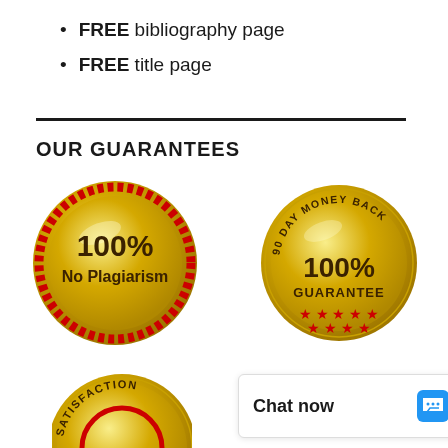FREE bibliography page
FREE title page
OUR GUARANTEES
[Figure (illustration): Gold circular badge with red dotted border reading '100% No Plagiarism']
[Figure (illustration): Gold circular badge reading '90 DAY MONEY BACK 100% GUARANTEE' with red stars]
[Figure (illustration): Partial gold circular badge reading 'SATISFACTION' (cropped at bottom)]
Chat now